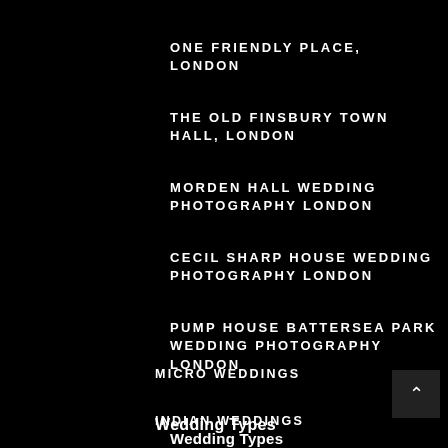ONE FRIENDLY PLACE, LONDON
THE OLD FINSBURY TOWN HALL, LONDON
MORDEN HALL WEDDING PHOTOGRAPHY LONDON
CECIL SHARP HOUSE WEDDING PHOTOGRAPHY LONDON
PUMP HOUSE BATTERSEA PARK WEDDING PHOTOGRAPHY LONDON
Wedding Types
MICRO WEDDINGS
INDIAN WEDDINGS